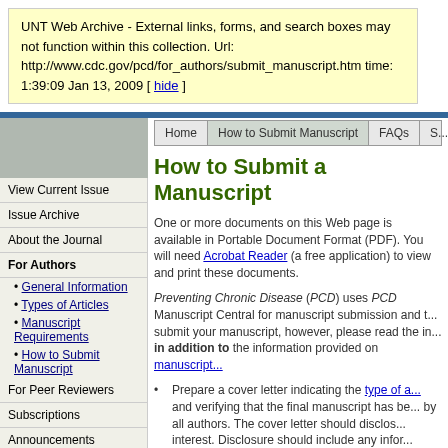UNT Web Archive - External links, forms, and search boxes may not function within this collection. Url: http://www.cdc.gov/pcd/for_authors/submit_manuscript.htm time: 1:39:09 Jan 13, 2009 [ hide ]
Home | How to Submit Manuscript | FAQs | S...
How to Submit a Manuscript
One or more documents on this Web page is available in Portable Document Format (PDF). You will need Acrobat Reader (a free application) to view and print these documents.
Preventing Chronic Disease (PCD) uses PCD Manuscript Central for manuscript submission and to submit your manuscript, however, please read the information in addition to the information provided on manuscript...
Prepare a cover letter indicating the type of a... and verifying that the final manuscript has be... by all authors. The cover letter should disclos... interest. Disclosure should include any infor...
View Current Issue
Issue Archive
About the Journal
For Authors
General Information
Types of Articles
Manuscript Requirements
How to Submit Manuscript
For Peer Reviewers
Subscriptions
Announcements
Search PCD